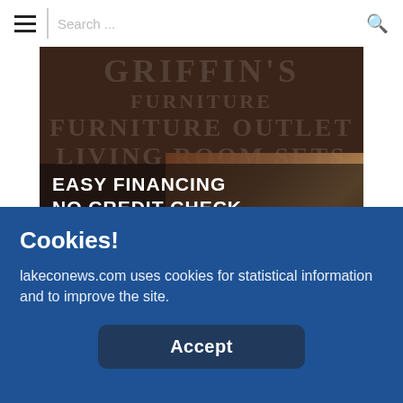[Figure (screenshot): Website navigation bar with hamburger menu icon on left, search bar in center, and search magnifying glass icon on right]
[Figure (photo): Furniture store advertisement banner for Griffin's Furniture showing living room furniture with text: EASY FINANCING, NO CREDIT CHECK, FREE LOCAL DELIVERY, griffinsfurniture.com 994-2112]
[Figure (screenshot): Partial orange-bordered white box with blue dots visible, partially hidden behind cookie banner]
Cookies!
lakeconews.com uses cookies for statistical information and to improve the site.
Accept